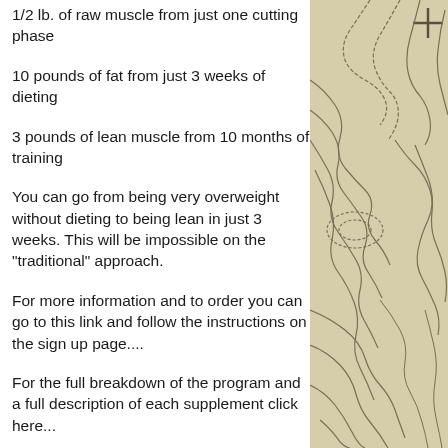1/2 lb. of raw muscle from just one cutting phase
10 pounds of fat from just 3 weeks of dieting
3 pounds of lean muscle from 10 months of training
You can go from being very overweight without dieting to being lean in just 3 weeks. This will be impossible on the "traditional" approach.
For more information and to order you can go to this link and follow the instructions on the sign up page....
For the full breakdown of the program and a full description of each supplement click here...
[Figure (illustration): Topographic map illustration with contour lines on a tan/beige background, with a cross/plus symbol visible at the top right edge.]